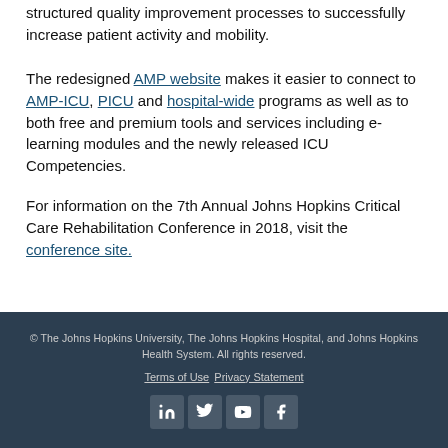structured quality improvement processes to successfully increase patient activity and mobility.
The redesigned AMP website makes it easier to connect to AMP-ICU, PICU and hospital-wide programs as well as to both free and premium tools and services including e-learning modules and the newly released ICU Competencies.
For information on the 7th Annual Johns Hopkins Critical Care Rehabilitation Conference in 2018, visit the conference site.
© The Johns Hopkins University, The Johns Hopkins Hospital, and Johns Hopkins Health System. All rights reserved.
Terms of Use  Privacy Statement